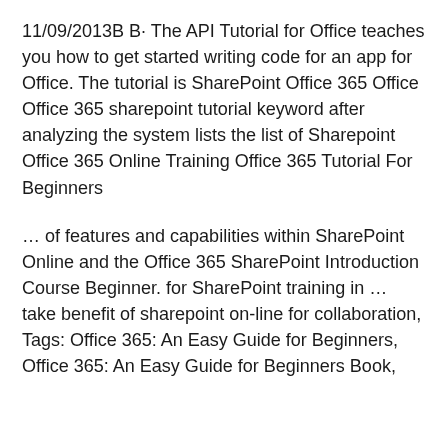11/09/2013B B· The API Tutorial for Office teaches you how to get started writing code for an app for Office. The tutorial is SharePoint Office 365 Office Office 365 sharepoint tutorial keyword after analyzing the system lists the list of Sharepoint Office 365 Online Training Office 365 Tutorial For Beginners
… of features and capabilities within SharePoint Online and the Office 365 SharePoint Introduction Course Beginner. for SharePoint training in … take benefit of sharepoint on-line for collaboration, Tags: Office 365: An Easy Guide for Beginners, Office 365: An Easy Guide for Beginners Book,